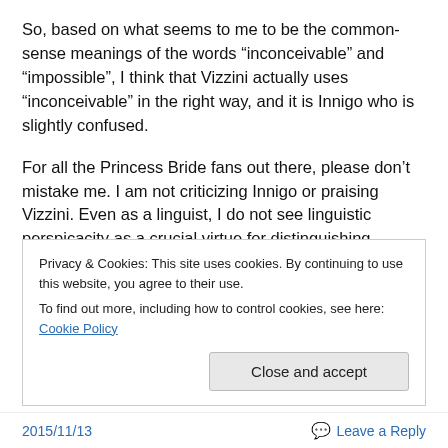So, based on what seems to me to be the common-sense meanings of the words “inconceivable” and “impossible”, I think that Vizzini actually uses “inconceivable” in the right way, and it is Innigo who is slightly confused.
For all the Princess Bride fans out there, please don’t mistake me. I am not criticizing Innigo or praising Vizzini. Even as a linguist, I do not see linguistic perspicacity as a crucial virtue for distinguishing protagonists from villains.
What do you think? Does that word mean what I think it means? Do you agree that the distinction between
Privacy & Cookies: This site uses cookies. By continuing to use this website, you agree to their use.
To find out more, including how to control cookies, see here: Cookie Policy
2015/11/13   Leave a Reply